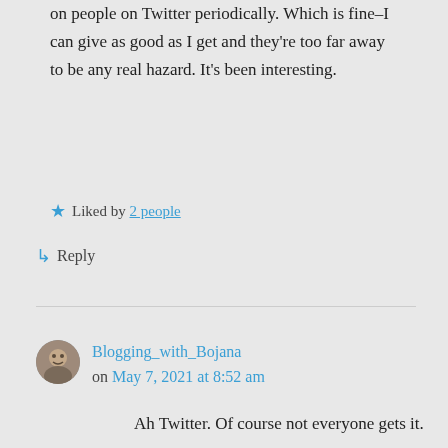on people on Twitter periodically. Which is fine–I can give as good as I get and they're too far away to be any real hazard. It's been interesting.
★ Liked by 2 people
↳ Reply
Blogging_with_Bojana on May 7, 2021 at 8:52 am
Ah Twitter. Of course not everyone gets it.